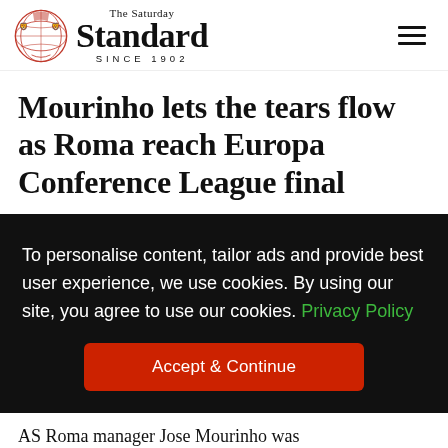The Saturday Standard SINCE 1902
Mourinho lets the tears flow as Roma reach Europa Conference League final
To personalise content, tailor ads and provide best user experience, we use cookies. By using our site, you agree to use our cookies. Privacy Policy
Accept & Continue
AS Roma manager Jose Mourinho was